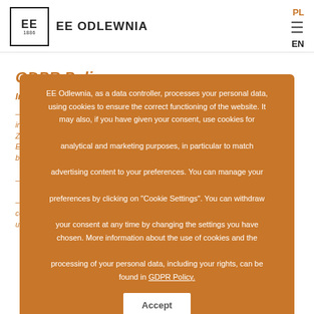[Figure (logo): EE Odlewnia logo with square border, EE text and 1886 year]
EE ODLEWNIA
PL
EN
GDPR Policy
Information clause in the recruitment process
EE Odlewnia, as a data controller, processes your personal data, using cookies to ensure the correct functioning of the website. It may also, if you have given your consent, use cookies for analytical and marketing purposes, in particular to match advertising content to your preferences. You can manage your preferences by clicking on “Cookie Settings”. You can withdraw your consent at any time by changing the settings you have chosen. More information about the use of cookies and the processing of your personal data, including your rights, can be found in GDPR Policy.
Accept